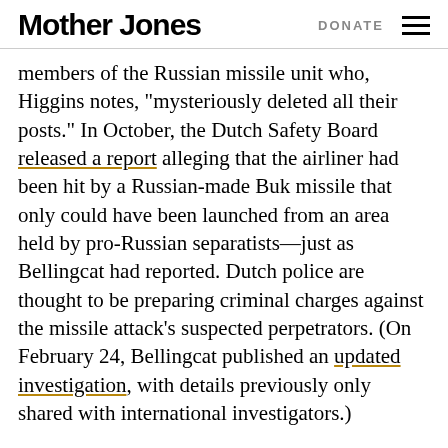Mother Jones  DONATE
members of the Russian missile unit who, Higgins notes, “mysteriously deleted all their posts.” In October, the Dutch Safety Board released a report alleging that the airliner had been hit by a Russian-made Buk missile that only could have been launched from an area held by pro-Russian separatists—just as Bellingcat had reported. Dutch police are thought to be preparing criminal charges against the missile attack’s suspected perpetrators. (On February 24, Bellingcat published an updated investigation, with details previously only shared with international investigators.)
Even as Higgins and his peers have proved the